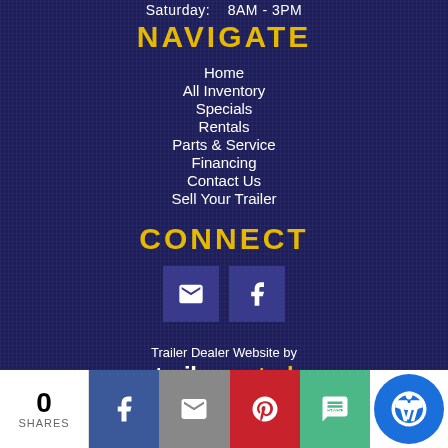Saturday:   8AM - 3PM
NAVIGATE
Home
All Inventory
Specials
Rentals
Parts & Service
Financing
Contact Us
Sell Your Trailer
CONNECT
[Figure (other): Email icon and Facebook icon social media buttons]
Trailer Dealer Website by
trailercentral
XML Site Map
0 SHARES | Facebook share | Email share | Pinterest share | SMS share | Accessibility